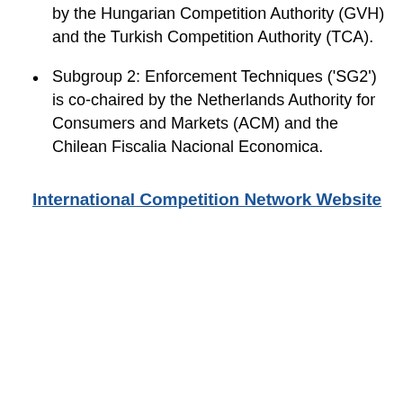by the Hungarian Competition Authority (GVH) and the Turkish Competition Authority (TCA).
Subgroup 2: Enforcement Techniques ('SG2') is co-chaired by the Netherlands Authority for Consumers and Markets (ACM) and the Chilean Fiscalia Nacional Economica.
International Competition Network Website